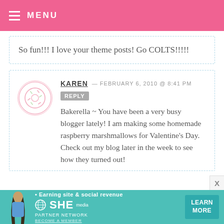MENU
So fun!!! I love your theme posts! Go COLTS!!!!!
KAREN — FEBRUARY 6, 2010 @ 8:41 PM  REPLY
Bakerella ~ You have been a very busy blogger lately! I am making some homemade raspberry marshmallows for Valentine's Day. Check out my blog later in the week to see how they turned out!
[Figure (infographic): Advertisement bar for SHE Partner Network with text 'Earning site & social revenue', SHE MEDIA logo, and LEARN MORE button]